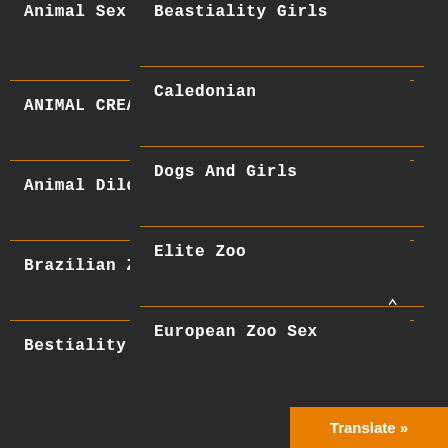Animal Sex Fun
ANIMAL CREAMPIE
Animal Dildos
Brazilian ZooSex
Bestiality Lovers
Beastiality Girls
Caledonian
Dogs And Girls
Elite Zoo
European Zoo Sex
Translate »